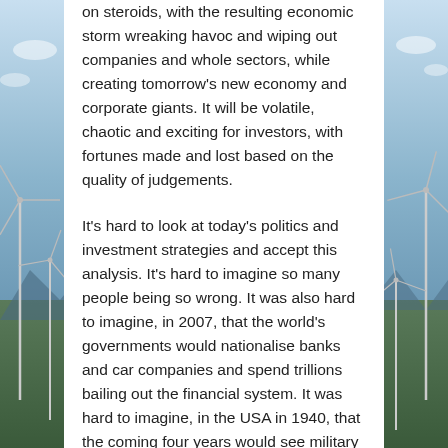on steroids, with the resulting economic storm wreaking havoc and wiping out companies and whole sectors, while creating tomorrow's new economy and corporate giants. It will be volatile, chaotic and exciting for investors, with fortunes made and lost based on the quality of judgements.
It's hard to look at today's politics and investment strategies and accept this analysis. It's hard to imagine so many people being so wrong. It was also hard to imagine, in 2007, that the world's governments would nationalise banks and car companies and spend trillions bailing out the financial system. It was hard to imagine, in the USA in 1940, that the coming four years would see military spending go from 1.6 per cent to 37 per cent of GDP and that government would take over and direct the economy, with actions like banning the production of private vehicles. In hindsight, though, such things are always obvious. And with the benefit of hindsight in 10 years time, the coming climate storm will have been obvious as well.
There is only question you have to ask yourself when you